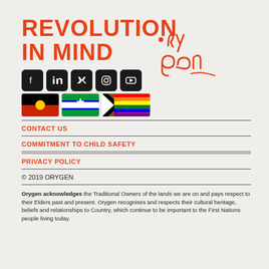[Figure (logo): Revolution In Mind Orygen logo with bold red uppercase text and handwritten 'orygen' script alongside social media icons and flag icons for Aboriginal, Torres Strait Islander, and Pride flags]
CONTACT US
COMMITMENT TO CHILD SAFETY
PRIVACY POLICY
© 2019 ORYGEN
Orygen acknowledges the Traditional Owners of the lands we are on and pays respect to their Elders past and present. Orygen recognises and respects their cultural heritage, beliefs and relationships to Country, which continue to be important to the First Nations people living today.